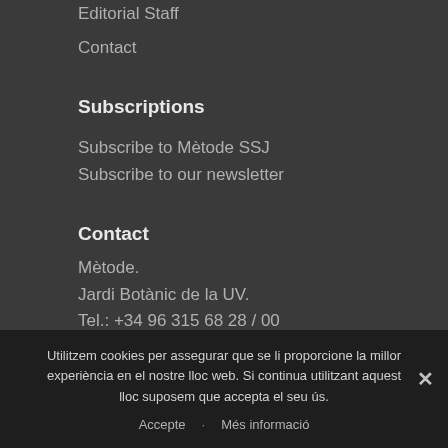Editorial Staff
Contact
Subscriptions
Subscribe to Mètode SSJ
Subscribe to our newsletter
Contact
Mètode.
Jardi Botànic de la UV.
Tel.: +34 96 315 68 28 / 00
Sales: +34 96 386 48 47
Utilitzem cookies per assegurar que se li proporcione la millor experiència en el nostre lloc web. Si continua utilitzant aquest lloc suposem que accepta el seu ús.
Accepte   Més informació